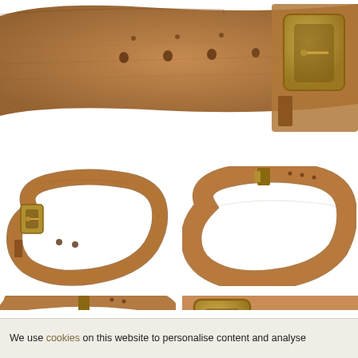[Figure (photo): Close-up top view of a wide brown leather belt with brass rectangular buckle and multiple holes along the length]
[Figure (photo): Full view of a brown leather belt with brass square buckle, laid flat in a loop]
[Figure (photo): Full view of a wide brown leather belt without visible buckle, formed into an oval loop shape]
[Figure (photo): Full view of a wide brown leather belt in an oval loop, front view showing buckle detail at top]
[Figure (photo): Close-up of brown leather belt buckle area showing brass rectangular buckle and belt holes]
We use cookies on this website to personalise content and analyse